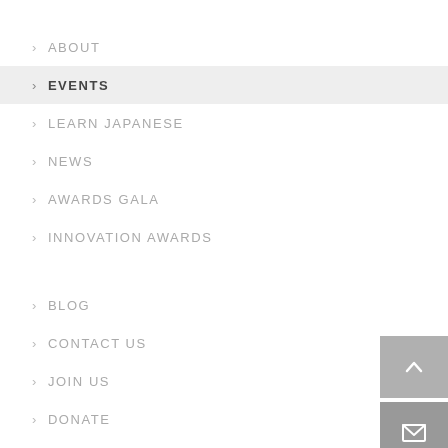> ABOUT
> EVENTS
> LEARN JAPANESE
> NEWS
> AWARDS GALA
> INNOVATION AWARDS
> BLOG
> CONTACT US
> JOIN US
> DONATE
> PRIVACY POLICY
[Figure (illustration): Scroll-to-top button (up chevron arrow on grey background)]
[Figure (illustration): Email/envelope icon button on grey background]